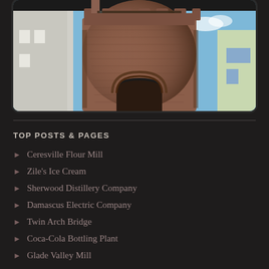[Figure (photo): Photograph of a round brick tower/castle structure with battlements at the top, arched entrance, set against a blue sky with adjacent buildings visible on the sides.]
TOP POSTS & PAGES
Ceresville Flour Mill
Zile's Ice Cream
Sherwood Distillery Company
Damascus Electric Company
Twin Arch Bridge
Coca-Cola Bottling Plant
Glade Valley Mill